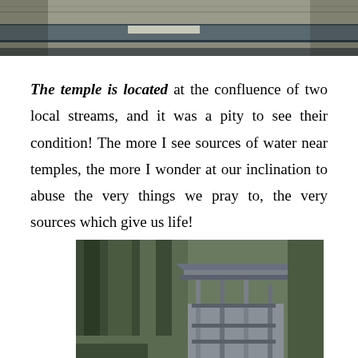[Figure (photo): Top portion of a photograph showing what appears to be a metal or wooden structure/surface, partially cropped at the top of the page.]
The temple is located at the confluence of two local streams, and it was a pity to see their condition! The more I see sources of water near temples, the more I wonder at our inclination to abuse the very things we pray to, the very sources which give us life!
[Figure (photo): A multi-storey wooden and metal structure (possibly a temple or observation tower) surrounded by tall conifer trees.]